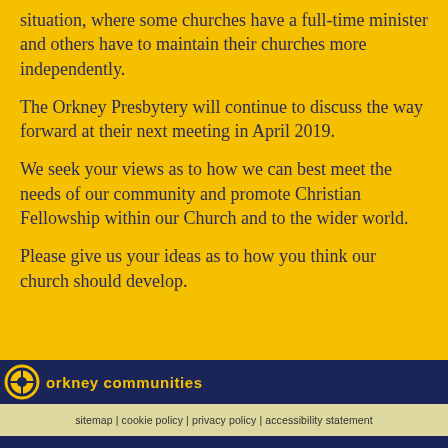situation, where some churches have a full-time minister and others have to maintain their churches more independently.
The Orkney Presbytery will continue to discuss the way forward at their next meeting in April 2019.
We seek your views as to how we can best meet the needs of our community and promote Christian Fellowship within our Church and to the wider world.
Please give us your ideas as to how you think our church should develop.
orkney communities
sitemap | cookie policy | privacy policy | accessibility statement